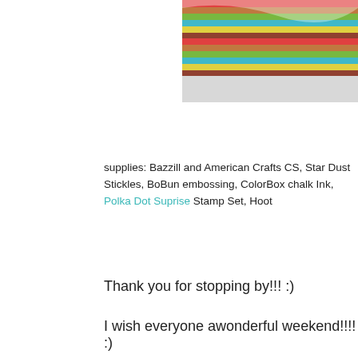[Figure (photo): Partial view of a striped craft card with colorful diagonal stripes in red, brown, green, teal, and yellow, cropped at top-right corner of the page.]
supplies: Bazzill and American Crafts CS, Star Dust Stickles, BoBun embossing, ColorBox chalk Ink, Polka Dot Suprise Stamp Set, Hoot
Thank you for stopping by!!! :)
I wish everyone awonderful weekend!!!! :)
Eingestellt von Cindy Lovell um 11:56 AM    5 comments:
June 7, 2011
2 new cards
Hi everyone,